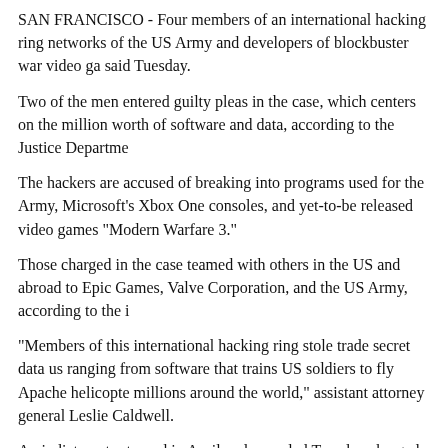SAN FRANCISCO - Four members of an international hacking ring networks of the US Army and developers of blockbuster war video games said Tuesday.
Two of the men entered guilty pleas in the case, which centers on the million worth of software and data, according to the Justice Department.
The hackers are accused of breaking into programs used for the Army, Microsoft's Xbox One consoles, and yet-to-be released video games "Modern Warfare 3."
Those charged in the case teamed with others in the US and abroad to Epic Games, Valve Corporation, and the US Army, according to the indictment.
"Members of this international hacking ring stole trade secret data ranging from software that trains US soldiers to fly Apache helicopters to millions around the world," assistant attorney general Leslie Caldwell.
An indictment returned in April and unsealed Tuesday charged the four with computer fraud, theft of trade secrets and other offenses.
Those named in the indictment were Nathan Leroux, 20, of Bowie, M of Washington, New Jersey; David Pokora, 22, of Mississauga, Canada; McCordsville, Indiana.